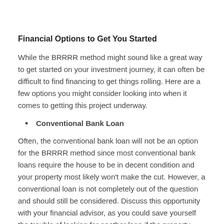Financial Options to Get You Started
While the BRRRR method might sound like a great way to get started on your investment journey, it can often be difficult to find financing to get things rolling. Here are a few options you might consider looking into when it comes to getting this project underway.
Conventional Bank Loan
Often, the conventional bank loan will not be an option for the BRRRR method since most conventional bank loans require the house to be in decent condition and your property most likely won't make the cut. However, a conventional loan is not completely out of the question and should still be considered. Discuss this opportunity with your financial advisor, as you could save yourself the trouble of looking for another loan if the property meets the requirements.
Local Bank Loan